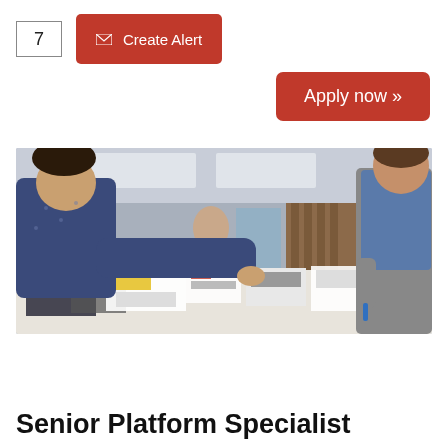7
✉ Create Alert
Apply now »
[Figure (photo): Two people leaning over a table covered with printed design layouts, cards and documents, working together in an office environment.]
Senior Platform Specialist